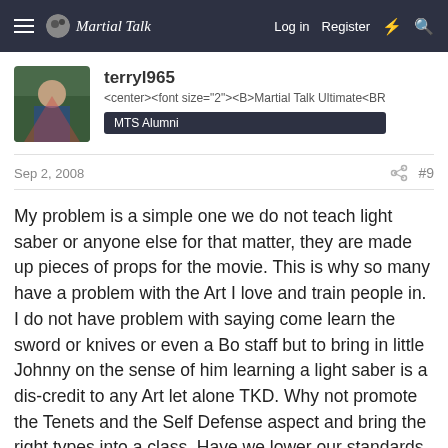Martial Talk — Log in  Register
terryl965
<center><font size="2"><B>Martial Talk Ultimate<BR
MTS Alumni
Sep 2, 2008
#9
My problem is a simple one we do not teach light saber or anyone else for that matter, they are made up pieces of props for the movie. This is why so many have a problem with the Art I love and train people in. I do not have problem with saying come learn the sword or knives or even a Bo staff but to bring in little Johnny on the sense of him learning a light saber is a dis-credit to any Art let alone TKD. Why not promote the Tenets and the Self Defense aspect and bring the right types into a class. Have we lower our standards so much that cheap palor tricks is the only way to bring in students.